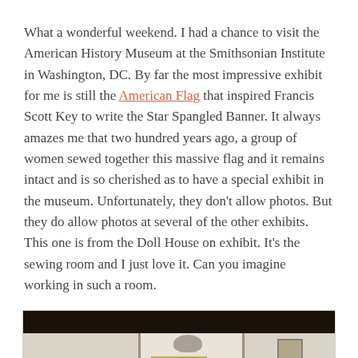What a wonderful weekend. I had a chance to visit the American History Museum at the Smithsonian Institute in Washington, DC. By far the most impressive exhibit for me is still the American Flag that inspired Francis Scott Key to write the Star Spangled Banner. It always amazes me that two hundred years ago, a group of women sewed together this massive flag and it remains intact and is so cherished as to have a special exhibit in the museum. Unfortunately, they don't allow photos. But they do allow photos at several of the other exhibits. This one is from the Doll House on exhibit. It's the sewing room and I just love it. Can you imagine working in such a room.
[Figure (photo): Photo of a miniature doll house sewing room exhibit showing a room with light-colored walls, a ceiling lamp, wooden furniture, and a framed picture on the wall.]